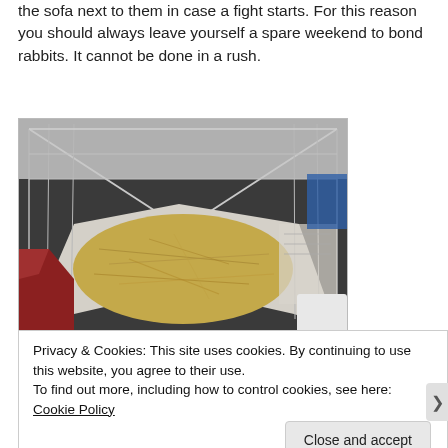the sofa next to them in case a fight starts. For this reason you should always leave yourself a spare weekend to bond rabbits. It cannot be done in a rush.
[Figure (photo): Overhead view of a wire pen/playpen enclosure with hay/straw bedding spread on newspaper on the floor, hands visible at the left edge holding the pen, blue and other objects visible in the background.]
Privacy & Cookies: This site uses cookies. By continuing to use this website, you agree to their use.
To find out more, including how to control cookies, see here: Cookie Policy